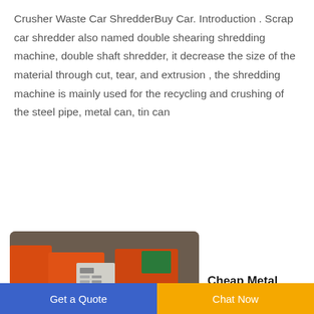Crusher Waste Car ShredderBuy Car. Introduction . Scrap car shredder also named double shearing shredding machine, double shaft shredder, it decrease the size of the material through cut, tear, and extrusion , the shredding machine is mainly used for the recycling and crushing of the steel pipe, metal can, tin can
[Figure (photo): Photo of industrial metal crusher / shredder machines in a workshop, showing orange and white machinery with conveyor components and control panels.]
Cheap Metal Crushers For Sale2021 Best Metal Crushers
Get a Quote   Chat Now